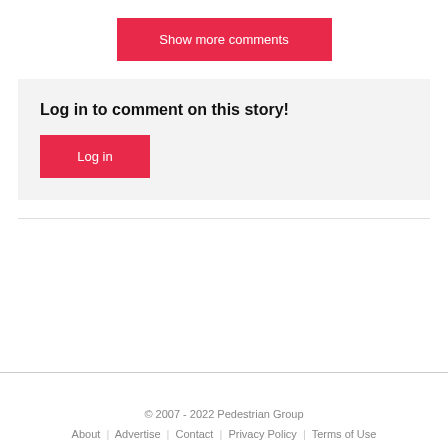Show more comments
Log in to comment on this story!
Log in
© 2007 - 2022 Pedestrian Group
About | Advertise | Contact | Privacy Policy | Terms of Use